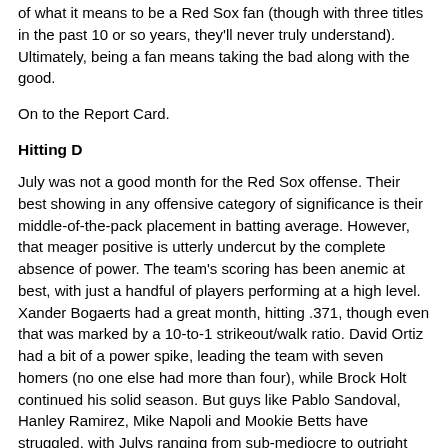of what it means to be a Red Sox fan (though with three titles in the past 10 or so years, they'll never truly understand). Ultimately, being a fan means taking the bad along with the good.
On to the Report Card.
Hitting D
July was not a good month for the Red Sox offense. Their best showing in any offensive category of significance is their middle-of-the-pack placement in batting average. However, that meager positive is utterly undercut by the complete absence of power. The team's scoring has been anemic at best, with just a handful of players performing at a high level. Xander Bogaerts had a great month, hitting .371, though even that was marked by a 10-to-1 strikeout/walk ratio. David Ortiz had a bit of a power spike, leading the team with seven homers (no one else had more than four), while Brock Holt continued his solid season. But guys like Pablo Sandoval, Hanley Ramirez, Mike Napoli and Mookie Betts have struggled, with Julys ranging from sub-mediocre to outright terrible. If nothing is done about the power outage, this team will be lucky to maintain even their current poor level of play.
Starting Pitching F
These guys are bad. Clay Buchholz was the one beacon of hope and he's down with injury. Every single other member of the rotation has been awful the last ERA of the bunch is Eduardo Rodriguez's 5.04. Wade Miley and Stan the